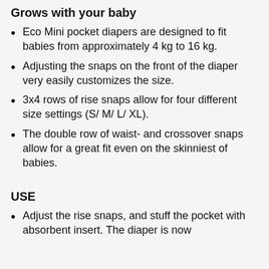Grows with your baby
Eco Mini pocket diapers are designed to fit babies from approximately 4 kg to 16 kg.
Adjusting the snaps on the front of the diaper very easily customizes the size.
3x4 rows of rise snaps allow for four different size settings (S/ M/ L/ XL).
The double row of waist- and crossover snaps allow for a great fit even on the skinniest of babies.
USE
Adjust the rise snaps, and stuff the pocket with absorbent insert. The diaper is now